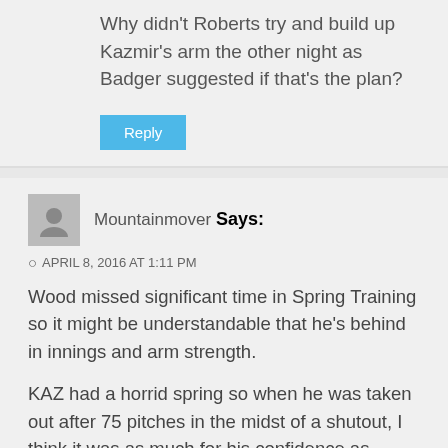Why didn't Roberts try and build up Kazmir's arm the other night as Badger suggested if that's the plan?
Reply
Mountainmover Says:
APRIL 8, 2016 AT 1:11 PM
Wood missed significant time in Spring Training so it might be understandable that he's behind in innings and arm strength.
KAZ had a horrid spring so when he was taken out after 75 pitches in the midst of a shutout, I think it was as much for his confidence as anything. KAZ did pitch 6 innings which was one less than the great Kershaw who pitched 23 innings in Spring Training Wood and Kaz